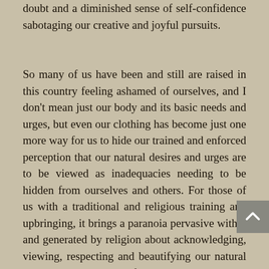doubt and a diminished sense of self-confidence sabotaging our creative and joyful pursuits.
So many of us have been and still are raised in this country feeling ashamed of ourselves, and I don't mean just our body and its basic needs and urges, but even our clothing has become just one more way for us to hide our trained and enforced perception that our natural desires and urges are to be viewed as inadequacies needing to be hidden from ourselves and others. For those of us with a traditional and religious training and upbringing, it brings a paranoia pervasive within and generated by religion about acknowledging, viewing, respecting and beautifying our natural selves as evidence of excessive pride and something to be avoided at all cost lest